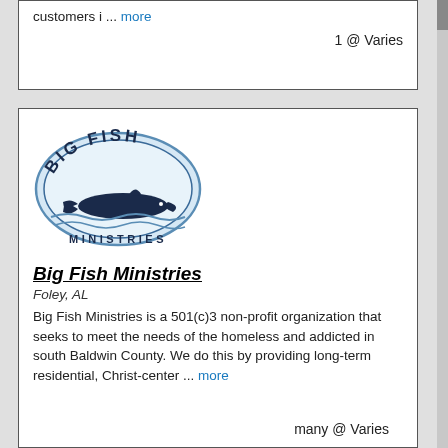customers i ... more
1 @ Varies
[Figure (logo): Big Fish Ministries logo — an oval with 'BIG FISH' text arched at top, a whale silhouette, water waves, and 'MINISTRIES' text at bottom]
Big Fish Ministries
Foley, AL
Big Fish Ministries is a 501(c)3 non-profit organization that seeks to meet the needs of the homeless and addicted in south Baldwin County. We do this by providing long-term residential, Christ-center ... more
many @ Varies